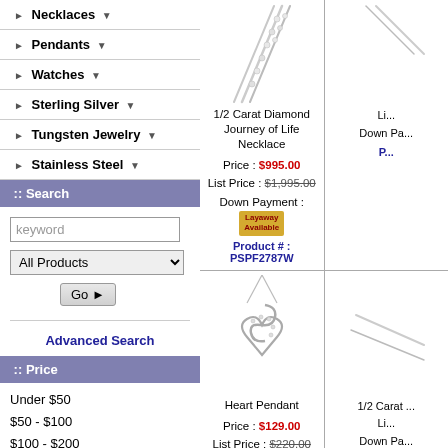Necklaces
Pendants
Watches
Sterling Silver
Tungsten Jewelry
Stainless Steel
:: Search
keyword
All Products
Go
Advanced Search
:: Price
Under $50
$50 - $100
$100 - $200
$200 - $300
1/2 Carat Diamond Journey of Life Necklace
Price : $995.00
List Price : $1,995.00
Down Payment :
Product # : PSPF2787W
Heart Pendant
Price : $129.00
List Price : $220.00
Down Payment :
Product # : QSX237
1/2 Carat ...